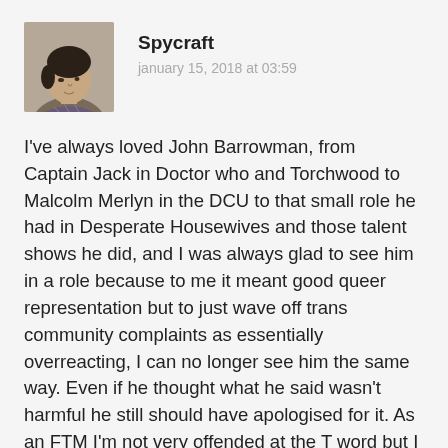[Figure (photo): Profile photo of a person with short dark hair, facing slightly to the side, wearing a patterned top]
Spycraft
january 15, 2018 at 03:59
I've always loved John Barrowman, from Captain Jack in Doctor who and Torchwood to Malcolm Merlyn in the DCU to that small role he had in Desperate Housewives and those talent shows he did, and I was always glad to see him in a role because to me it meant good queer representation but to just wave off trans community complaints as essentially overreacting, I can no longer see him the same way. Even if he thought what he said wasn't harmful he still should have apologised for it. As an FTM I'm not very offended at the T word but I know it is harmful for my MTF sisters. I